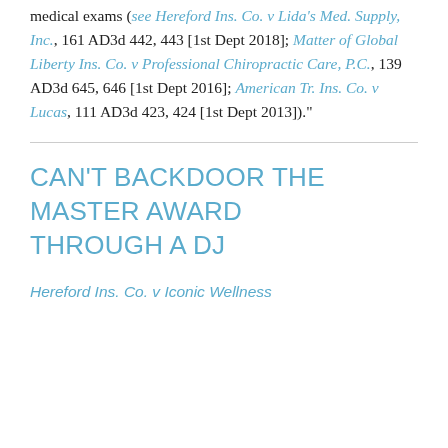medical exams (see Hereford Ins. Co. v Lida's Med. Supply, Inc., 161 AD3d 442, 443 [1st Dept 2018]; Matter of Global Liberty Ins. Co. v Professional Chiropractic Care, P.C., 139 AD3d 645, 646 [1st Dept 2016]; American Tr. Ins. Co. v Lucas, 111 AD3d 423, 424 [1st Dept 2013])."
CAN'T BACKDOOR THE MASTER AWARD THROUGH A DJ
Hereford Ins. Co. v Iconic Wellness